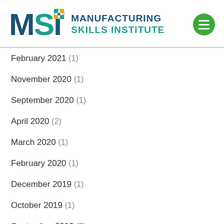[Figure (logo): Manufacturing Skills Institute (MSI) logo with puzzle piece graphic and green circle hamburger menu button]
February 2021 (1)
November 2020 (1)
September 2020 (1)
April 2020 (2)
March 2020 (1)
February 2020 (1)
December 2019 (1)
October 2019 (1)
September 2019 (7)
August 2019 (4)
July 2019 (1)